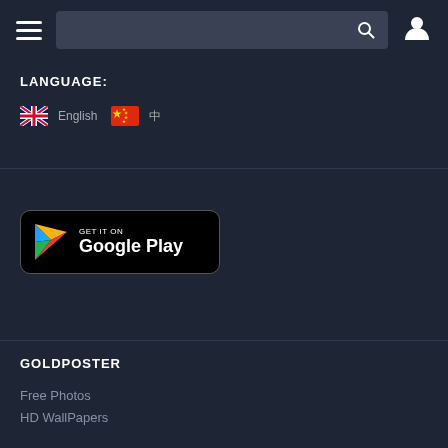Navigation header with hamburger menu, search bar, and user icon
LANGUAGE:
English  中
[Figure (screenshot): Google Play Store badge with Play triangle logo and text GET IT ON Google Play]
GOLDPOSTER
Free Photos
HD WallPapers